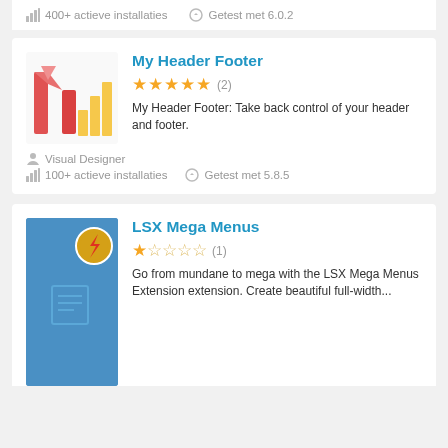400+ actieve installaties   Getest met 6.0.2
[Figure (logo): My Header Footer plugin logo with red M shape and yellow bar chart]
My Header Footer
★★★★★ (2)
My Header Footer: Take back control of your header and footer.
Visual Designer
100+ actieve installaties   Getest met 5.8.5
[Figure (logo): LSX Mega Menus plugin logo: blue background with lightning bolt icon]
LSX Mega Menus
★☆☆☆☆ (1)
Go from mundane to mega with the LSX Mega Menus Extension extension. Create beautiful full-width...